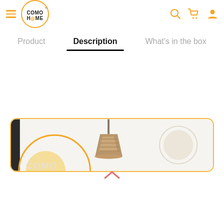COMO HOME — navigation header with hamburger menu, logo, search, cart, and user icons
Product | Description | What's in the box
[Figure (photo): Partial product banner image showing a decorative rattan/wicker pendant lamp with Como Home branding and a yellow rounded border frame. The image is cut off at the bottom.]
[Figure (other): Up-pointing chevron/caret icon in salmon/pink color, used as a scroll-up UI element]